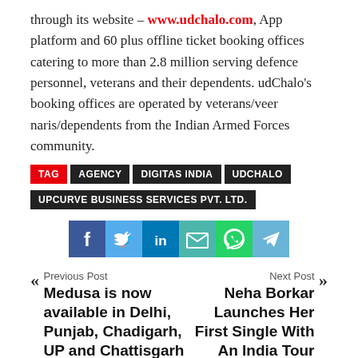through its website – www.udchalo.com, App platform and 60 plus offline ticket booking offices catering to more than 2.8 million serving defence personnel, veterans and their dependents. udChalo's booking offices are operated by veterans/veer naris/dependents from the Indian Armed Forces community.
TAG | AGENCY | DIGITAS INDIA | UDCHALO | UPCURVE BUSINESS SERVICES PVT. LTD.
[Figure (infographic): Social sharing icons row: Facebook (blue), Twitter (light blue), LinkedIn (blue), Email (teal), WhatsApp (green), Telegram (light blue)]
Previous Post: Medusa is now available in Delhi, Punjab, Chadigarh, UP and Chattisgarh
Next Post: Neha Borkar Launches Her First Single With An India Tour